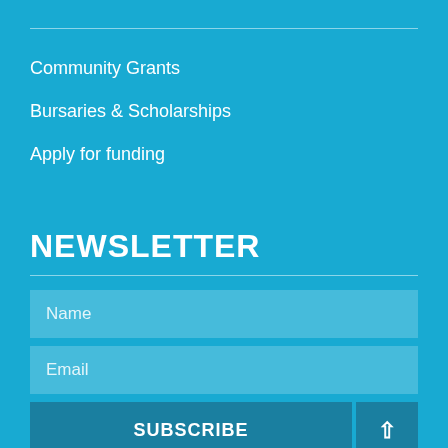Community Grants
Bursaries & Scholarships
Apply for funding
NEWSLETTER
Name
Email
SUBSCRIBE